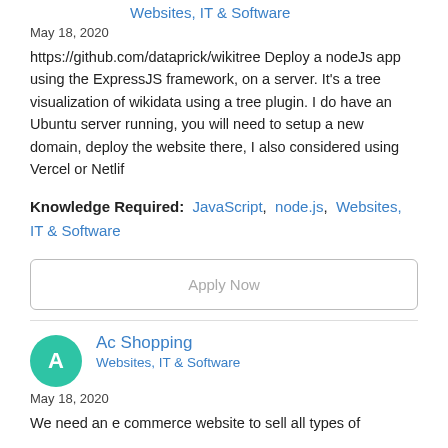Websites, IT & Software
May 18, 2020
https://github.com/dataprick/wikitree Deploy a nodeJs app using the ExpressJS framework, on a server. It's a tree visualization of wikidata using a tree plugin. I do have an Ubuntu server running, you will need to setup a new domain, deploy the website there, I also considered using Vercel or Netlif
Knowledge Required: JavaScript, node.js, Websites, IT & Software
Apply Now
Ac Shopping
Websites, IT & Software
May 18, 2020
We need an e commerce website to sell all types of